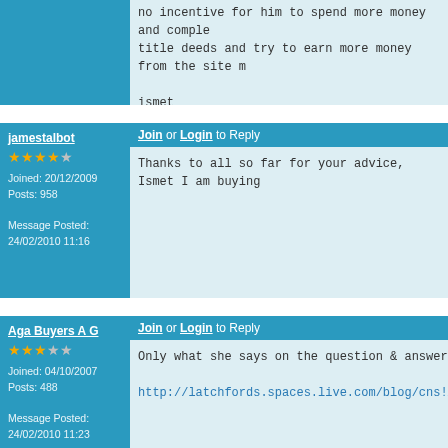no incentive for him to spend more money and comple title deeds and try to earn more money from the site m
ismet
Join or Login to Reply
jamestalbot
Joined: 20/12/2009
Posts: 958
Message Posted: 24/02/2010 11:16
Thanks to all so far for your advice, Ismet I am buying
Join or Login to Reply
Aga Buyers A G
Joined: 04/10/2007
Posts: 488
Message Posted: 24/02/2010 11:23
Only what she says on the question & answer session
http://latchfords.spaces.live.com/blog/cns!AED4FE767